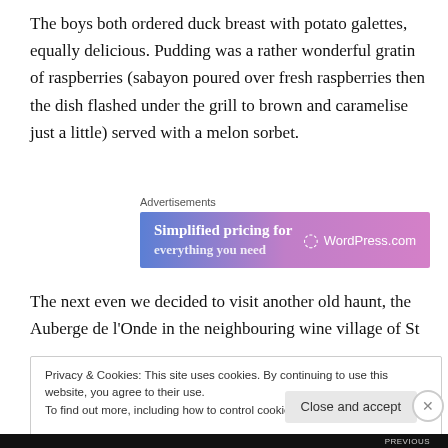The boys both ordered duck breast with potato galettes, equally delicious. Pudding was a rather wonderful gratin of raspberries (sabayon poured over fresh raspberries then the dish flashed under the grill to brown and caramelise just a little) served with a melon sorbet.
Advertisements
[Figure (other): WordPress.com advertisement banner with gradient blue-to-purple background reading 'Simplified pricing for' and WordPress.com logo on right]
The next even we decided to visit another old haunt, the Auberge de l'Onde in the neighbouring wine village of St
Privacy & Cookies: This site uses cookies. By continuing to use this website, you agree to their use.
To find out more, including how to control cookies, see here: Cookie Policy